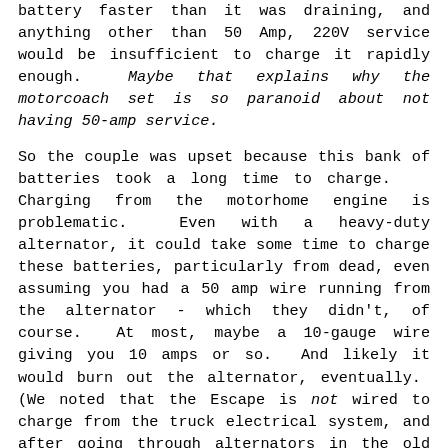battery faster than it was draining, and anything other than 50 Amp, 220V service would be insufficient to charge it rapidly enough. Maybe that explains why the motorcoach set is so paranoid about not having 50-amp service.
So the couple was upset because this bank of batteries took a long time to charge. Charging from the motorhome engine is problematic. Even with a heavy-duty alternator, it could take some time to charge these batteries, particularly from dead, even assuming you had a 50 amp wire running from the alternator - which they didn't, of course. At most, maybe a 10-gauge wire giving you 10 amps or so. And likely it would burn out the alternator, eventually. (We noted that the Escape is not wired to charge from the truck electrical system, and after going through alternators in the old F150 and the X5, perhaps I see why).
I also suspect that the power supply (the power panel with 12V charging circuit) isn't sufficient for the battery load. I put a huge battery in the Casita, and eventually, the power supply failed. I put a new one in - a small one - and it struggled to handle such a large battery. Lesson learned -